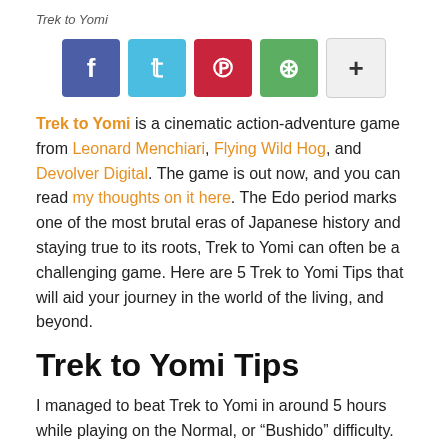Trek to Yomi
[Figure (infographic): Row of five social share buttons: Facebook (blue), Twitter (light blue), Pinterest (red), WhatsApp (green), and a plus/more button (light gray)]
Trek to Yomi is a cinematic action-adventure game from Leonard Menchiari, Flying Wild Hog, and Devolver Digital. The game is out now, and you can read my thoughts on it here. The Edo period marks one of the most brutal eras of Japanese history and staying true to its roots, Trek to Yomi can often be a challenging game. Here are 5 Trek to Yomi Tips that will aid your journey in the world of the living, and beyond.
Trek to Yomi Tips
I managed to beat Trek to Yomi in around 5 hours while playing on the Normal, or “Bushido” difficulty. Here are a few things I picked up that will help you as you fight, and explore